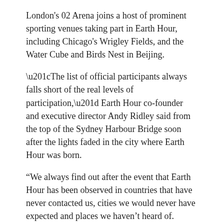London's 02 Arena joins a host of prominent sporting venues taking part in Earth Hour, including Chicago's Wrigley Fields, and the Water Cube and Birds Nest in Beijing.
“The list of official participants always falls short of the real levels of participation,” Earth Hour co-founder and executive director Andy Ridley said from the top of the Sydney Harbour Bridge soon after the lights faded in the city where Earth Hour was born.
“We always find out after the event that Earth Hour has been observed in countries that have never contacted us, cities we would never have expected and places we haven’t heard of.
“We treasure this - it is symbolic of the growing recognition that we all need to act to restore the harmony between humanity and its environment and we all can act.”